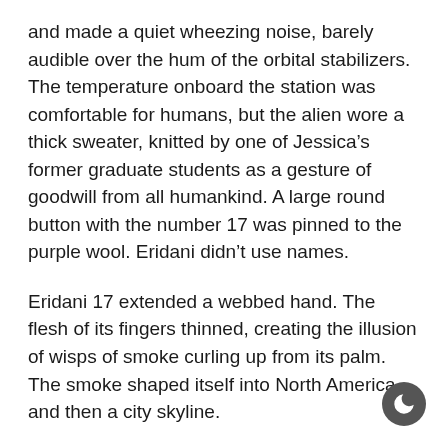and made a quiet wheezing noise, barely audible over the hum of the orbital stabilizers. The temperature onboard the station was comfortable for humans, but the alien wore a thick sweater, knitted by one of Jessica's former graduate students as a gesture of goodwill from all humankind. A large round button with the number 17 was pinned to the purple wool. Eridani didn't use names.
Eridani 17 extended a webbed hand. The flesh of its fingers thinned, creating the illusion of wisps of smoke curling up from its palm. The smoke shaped itself into North America, and then a city skyline.
“Toronto?” Jessica asked. The city had a distinctive tower. Eridani 17 shook its head.